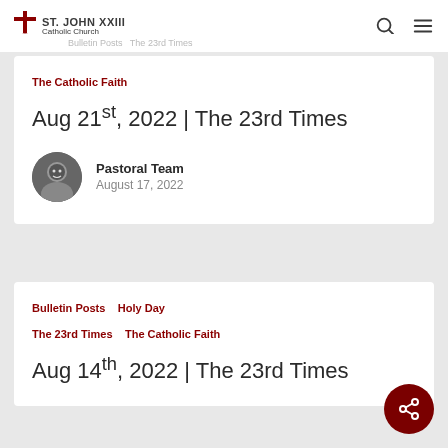St. John XXIII Catholic Church
Bulletin Posts  The 23rd Times
The Catholic Faith
Aug 21st, 2022 | The 23rd Times
Pastoral Team
August 17, 2022
Bulletin Posts   Holy Day
The 23rd Times   The Catholic Faith
Aug 14th, 2022 | The 23rd Times